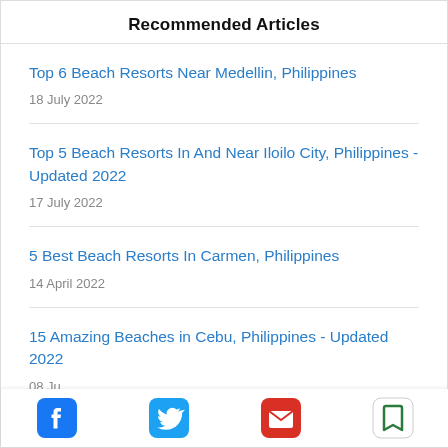Recommended Articles
Top 6 Beach Resorts Near Medellin, Philippines
18 July 2022
Top 5 Beach Resorts In And Near Iloilo City, Philippines - Updated 2022
17 July 2022
5 Best Beach Resorts In Carmen, Philippines
14 April 2022
15 Amazing Beaches in Cebu, Philippines - Updated 2022
08 Ju...